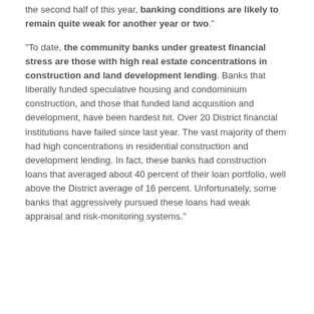the second half of this year, banking conditions are likely to remain quite weak for another year or two."
"To date, the community banks under greatest financial stress are those with high real estate concentrations in construction and land development lending. Banks that liberally funded speculative housing and condominium construction, and those that funded land acquisition and development, have been hardest hit. Over 20 District financial institutions have failed since last year. The vast majority of them had high concentrations in residential construction and development lending. In fact, these banks had construction loans that averaged about 40 percent of their loan portfolio, well above the District average of 16 percent. Unfortunately, some banks that aggressively pursued these loans had weak appraisal and risk-monitoring systems."